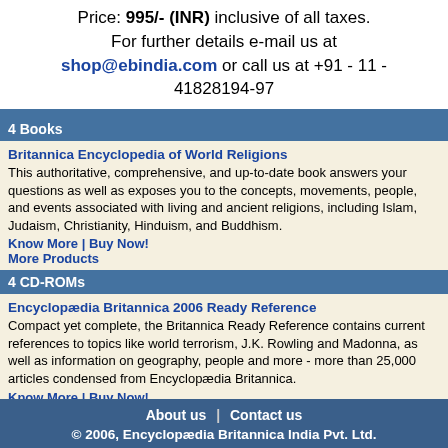Price: 995/- (INR) inclusive of all taxes. For further details e-mail us at shop@ebindia.com or call us at +91 - 11 - 41828194-97
4 Books
Britannica Encyclopedia of World Religions
This authoritative, comprehensive, and up-to-date book answers your questions as well as exposes you to the concepts, movements, people, and events associated with living and ancient religions, including Islam, Judaism, Christianity, Hinduism, and Buddhism.
Know More | Buy Now!
More Products
4 CD-ROMs
Encyclopædia Britannica 2006 Ready Reference
Compact yet complete, the Britannica Ready Reference contains current references to topics like world terrorism, J.K. Rowling and Madonna, as well as information on geography, people and more - more than 25,000 articles condensed from Encyclopædia Britannica.
Know More | Buy Now!
More Products
About us | Contact us © 2006, Encyclopædia Britannica India Pvt. Ltd.